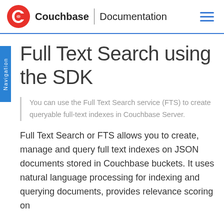Couchbase | Documentation
Full Text Search using the SDK
You can use the Full Text Search service (FTS) to create queryable full-text indexes in Couchbase Server.
Full Text Search or FTS allows you to create, manage and query full text indexes on JSON documents stored in Couchbase buckets. It uses natural language processing for indexing and querying documents, provides relevance scoring on